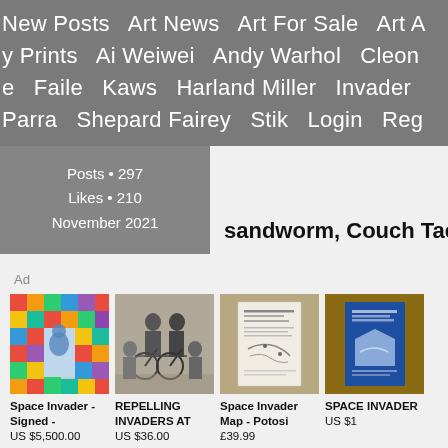New Posts  Art News  Art For Sale  Art A  y Prints  Ai Weiwei  Andy Warhol  Cleon  e  Faile  Kaws  Harland Miller  Invader  Parra  Shepard Fairey  Stik  Login  Reg
Posts • 297
Likes • 210
November 2021
sandworm, Couch Tac
Ad
[Figure (photo): Space Invader signed artwork - colorful mosaic tile style with blue bird/figure motif]
[Figure (photo): Vintage black and white photo of two people with bicycles]
[Figure (photo): Space Invader Map - Potosi - printed paper document on cork board]
[Figure (photo): SPACE INVADER blue book/publication]
Space Invader - Signed -
US $5,500.00
REPELLING INVADERS AT
US $36.00
Space Invader Map - Potosi
£39.99
SPACE INVADER
US $1